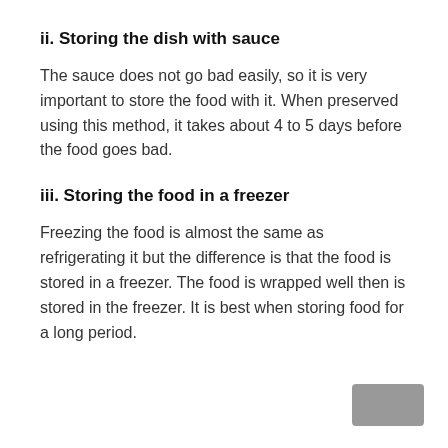ii. Storing the dish with sauce
The sauce does not go bad easily, so it is very important to store the food with it. When preserved using this method, it takes about 4 to 5 days before the food goes bad.
iii. Storing the food in a freezer
Freezing the food is almost the same as refrigerating it but the difference is that the food is stored in a freezer. The food is wrapped well then is stored in the freezer. It is best when storing food for a long period.